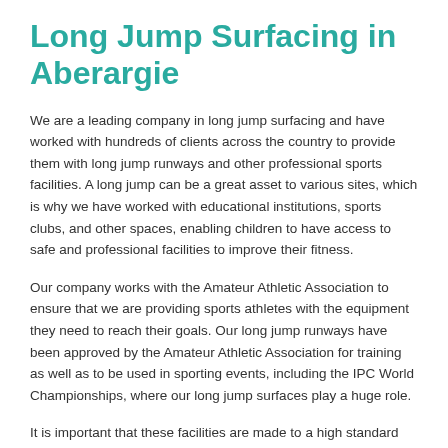Long Jump Surfacing in Aberargie
We are a leading company in long jump surfacing and have worked with hundreds of clients across the country to provide them with long jump runways and other professional sports facilities. A long jump can be a great asset to various sites, which is why we have worked with educational institutions, sports clubs, and other spaces, enabling children to have access to safe and professional facilities to improve their fitness.
Our company works with the Amateur Athletic Association to ensure that we are providing sports athletes with the equipment they need to reach their goals. Our long jump runways have been approved by the Amateur Athletic Association for training as well as to be used in sporting events, including the IPC World Championships, where our long jump surfaces play a huge role.
It is important that these facilities are made to a high standard and that this standard is maintained across the industry so those in UK athletics can train wherever they are available. This is why for